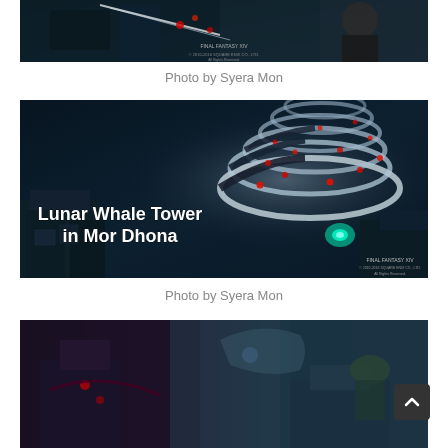[Figure (screenshot): Final Fantasy XIV screenshot showing a dark dungeon/raid scene with a character in black and white armor facing a large creature. FINAL FANTASY XIV copyright notice visible.]
Photo by Syera Mon
[Figure (screenshot): Final Fantasy XIV screenshot showing the Lunar Whale Tower in Mor Dhona, featuring a large spiraling tower structure with glowing red lights against a dark background. Text overlay reads 'Lunar Whale Tower in Mor Dhona'. FINAL FANTASY XIV copyright notice visible.]
Photo by Syera Mon
[Figure (screenshot): Final Fantasy XIV screenshot partially visible at bottom, showing a colorful outdoor scene with purple and teal hues.]